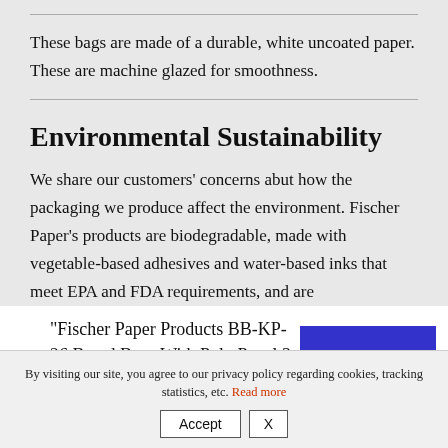These bags are made of a durable, white uncoated paper. These are machine glazed for smoothness.
Environmental Sustainability
We share our customers' concerns abut how the packaging we produce affect the environment. Fischer Paper's products are biodegradable, made with vegetable-based adhesives and water-based inks that meet EPA and FDA requirements, and are
“Fischer Paper Products BB-KP-26 Bread Bags With Poly Panel 3-1/2 x 2 x 26 Printed Wheat Stock Design”
VIEW CART
By visiting our site, you agree to our privacy policy regarding cookies, tracking statistics, etc. Read more
Accept
X